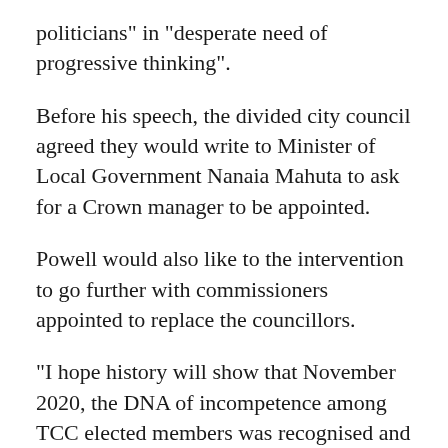politicians" in "desperate need of progressive thinking".
Before his speech, the divided city council agreed they would write to Minister of Local Government Nanaia Mahuta to ask for a Crown manager to be appointed.
Powell would also like to the intervention to go further with commissioners appointed to replace the councillors.
"I hope history will show that November 2020, the DNA of incompetence among TCC elected members was recognised and cauterized, and after a period of crown management that the governors team can be rebuilt with real members," he said.
He said that was necessary because the city had a "historical legacy of councils which are essentially